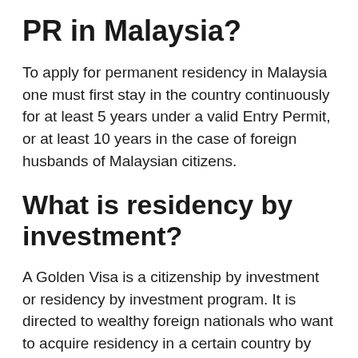PR in Malaysia?
To apply for permanent residency in Malaysia one must first stay in the country continuously for at least 5 years under a valid Entry Permit, or at least 10 years in the case of foreign husbands of Malaysian citizens.
What is residency by investment?
A Golden Visa is a citizenship by investment or residency by investment program. It is directed to wealthy foreign nationals who want to acquire residency in a certain country by investing a substantial amount of